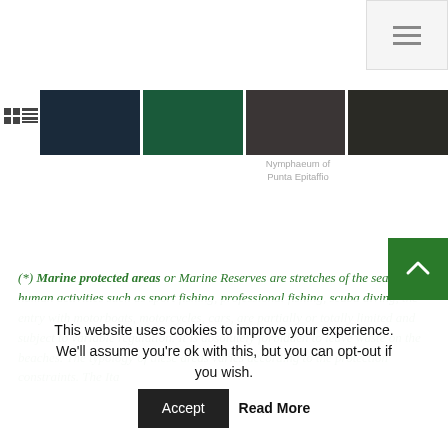[Figure (photo): Navigation menu button (hamburger icon) in top right corner]
[Figure (photo): Strip of four dark thumbnail images of marine/underwater scenes]
Nymphaeum of Punta Epitaffio
(*) Marine protected areas or Marine Reserves are stretches of the sea where human activities such as sport fishing, professional fishing, scuba diving, the entry with motorboats, motorcycles, cars, are partially or totally limited and subject to variable regulation. It is absolutely forbidden to leave waste on the beaches. The typology of these areas varies according to the protection constraints. The Ita marine protected areas are 37 for a sea surface of
This website uses cookies to improve your experience. We'll assume you're ok with this, but you can opt-out if you wish. Accept Read More